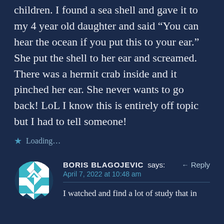children. I found a sea shell and gave it to my 4 year old daughter and said “You can hear the ocean if you put this to your ear.” She put the shell to her ear and screamed. There was a hermit crab inside and it pinched her ear. She never wants to go back! LoL I know this is entirely off topic but I had to tell someone!
★ Loading…
[Figure (illustration): Circular avatar with a teal and white geometric diamond/triangle quilt pattern on a dark navy background]
BORIS BLAGOJEVIC says: ← Reply
April 7, 2022 at 10:48 am
I watched and find a lot of study that in